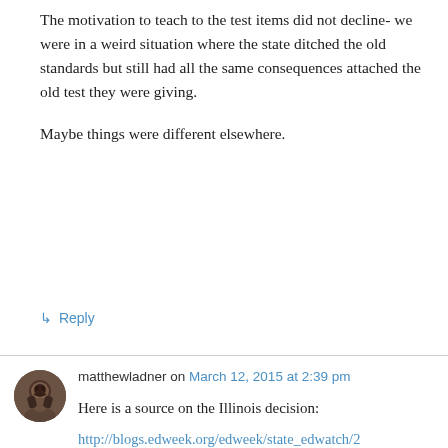The motivation to teach to the test items did not decline- we were in a weird situation where the state ditched the old standards but still had all the same consequences attached the old test they were giving.
Maybe things were different elsewhere.
↳ Reply
matthewladner on March 12, 2015 at 2:39 pm
Here is a source on the Illinois decision:
http://blogs.edweek.org/edweek/state_edwatch/2013/01/illinois_raises_state_test_cut_scores_to_prepare_for_common_core.html